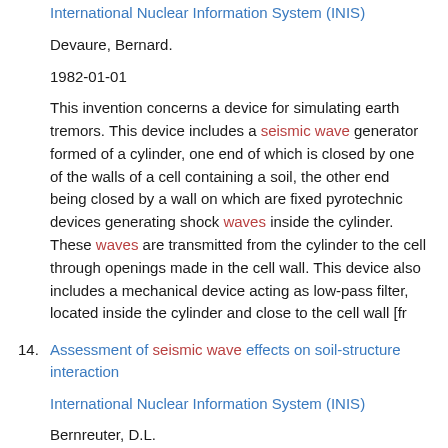International Nuclear Information System (INIS)
Devaure, Bernard.
1982-01-01
This invention concerns a device for simulating earth tremors. This device includes a seismic wave generator formed of a cylinder, one end of which is closed by one of the walls of a cell containing a soil, the other end being closed by a wall on which are fixed pyrotechnic devices generating shock waves inside the cylinder. These waves are transmitted from the cylinder to the cell through openings made in the cell wall. This device also includes a mechanical device acting as low-pass filter, located inside the cylinder and close to the cell wall [fr
14. Assessment of seismic wave effects on soil-structure interaction
International Nuclear Information System (INIS)
Bernreuter, D.L.
1977-01-01
One of the most common hypotheses made for soil-structure